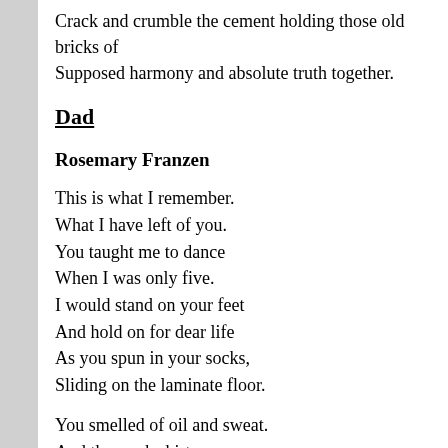Crack and crumble the cement holding those old bricks of Supposed harmony and absolute truth together.
Dad
Rosemary Franzen
This is what I remember.
What I have left of you.
You taught me to dance
When I was only five.
I would stand on your feet
And hold on for dear life
As you spun in your socks,
Sliding on the laminate floor.
You smelled of oil and sweat.
And the work shirt you wore
Chafed against my forehead
As you showed me the waltz.
But I did not care,